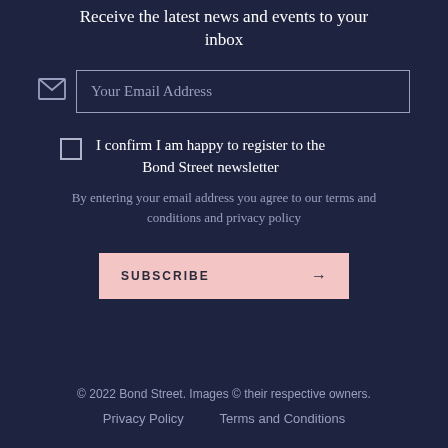Receive the latest news and events to your inbox
Your Email Address
I confirm I am happy to register to the Bond Street newsletter
By entering your email address you agree to our terms and conditions and privacy policy
SUBSCRIBE
© 2022 Bond Street. Images © their respective owners.
Privacy Policy   Terms and Conditions